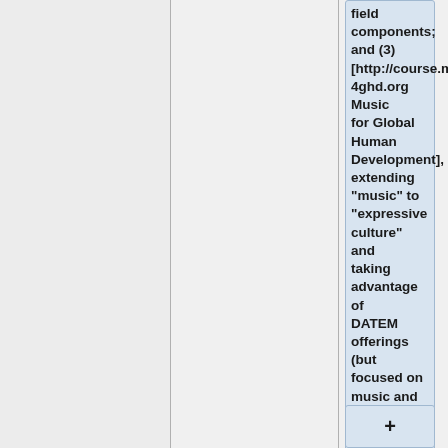field components; and (3) [http://course.m4ghd.org Music for Global Human Development], extending "music" to "expressive culture" and taking advantage of DATEM offerings (but focused on music and dance approaches primarily).
+